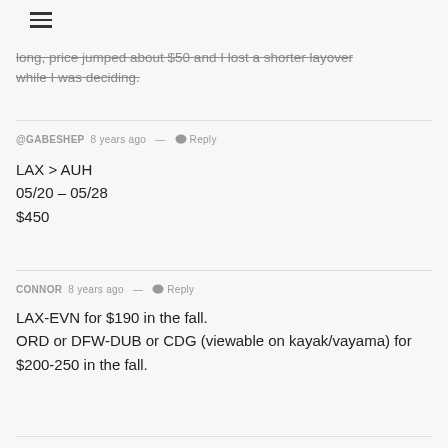[Figure (other): Hamburger menu icon (three horizontal lines)]
long, price jumped about $50 and I lost a shorter layover while I was deciding.
@GABESHEP 8 years ago — Reply
LAX > AUH
05/20 – 05/28
$450
CONNOR 8 years ago — Reply
LAX-EVN for $190 in the fall.
ORD or DFW-DUB or CDG (viewable on kayak/vayama) for $200-250 in the fall.